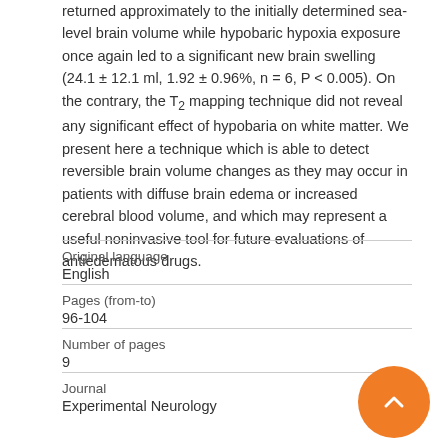returned approximately to the initially determined sea-level brain volume while hypobaric hypoxia exposure once again led to a significant new brain swelling (24.1 ± 12.1 ml, 1.92 ± 0.96%, n = 6, P < 0.005). On the contrary, the T2 mapping technique did not reveal any significant effect of hypobaria on white matter. We present here a technique which is able to detect reversible brain volume changes as they may occur in patients with diffuse brain edema or increased cerebral blood volume, and which may represent a useful noninvasive tool for future evaluations of antiedematous drugs.
| Field | Value |
| --- | --- |
| Original language | English |
| Pages (from-to) | 96-104 |
| Number of pages | 9 |
| Journal | Experimental Neurology |